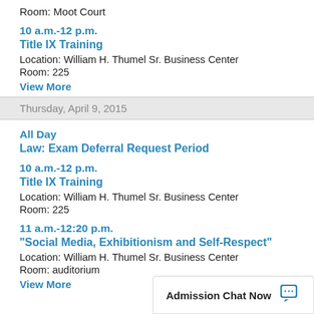Room: Moot Court
10 a.m.-12 p.m.
Title IX Training
Location: William H. Thumel Sr. Business Center
Room: 225
View More
Thursday, April 9, 2015
All Day
Law: Exam Deferral Request Period
10 a.m.-12 p.m.
Title IX Training
Location: William H. Thumel Sr. Business Center
Room: 225
11 a.m.-12:20 p.m.
"Social Media, Exhibitionism and Self-Respect"
Location: William H. Thumel Sr. Business Center
Room: auditorium
View More